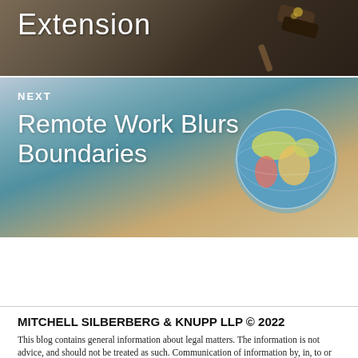[Figure (photo): Top banner image showing partial text 'Extension' over a dark background with a gavel/legal imagery]
[Figure (photo): Next article banner with a colorful globe map image and text overlay reading 'NEXT Remote Work Blurs Boundaries']
NEXT
Remote Work Blurs Boundaries
•••
MITCHELL SILBERBERG & KNUPP LLP © 2022
This blog contains general information about legal matters. The information is not advice, and should not be treated as such. Communication of information by, in, to or through this blog and your